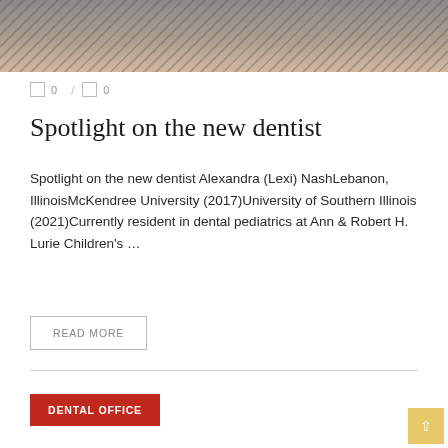[Figure (photo): Cropped photo of a person in a grey outfit, showing the upper body/shoulder area]
0 / 0
Spotlight on the new dentist
Spotlight on the new dentist Alexandra (Lexi) NashLebanon, IllinoisMcKendree University (2017)University of Southern Illinois (2021)Currently resident in dental pediatrics at Ann & Robert H. Lurie Children's ...
READ MORE
DENTAL OFFICE